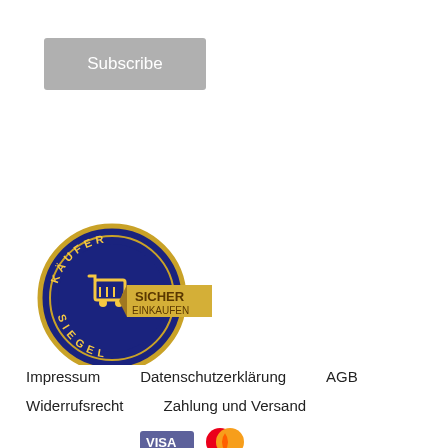[Figure (other): Subscribe button — grey rounded rectangle with white text 'Subscribe']
[Figure (logo): Kaufer Siegel trust badge — circular navy blue seal with shopping cart icon and gold ribbon banner reading 'SICHER EINKAUFEN']
Impressum   Datenschutzerklärung   AGB
Widerrufsrecht   Zahlung und Versand
[Figure (logo): Payment method logos partially visible at bottom: Visa, Mastercard and another card logo]